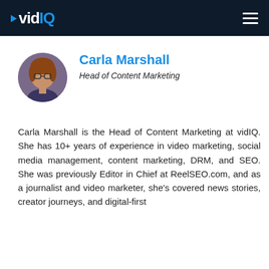vidIQ
[Figure (photo): Circular profile photo of Carla Marshall, a woman with glasses and reddish-brown hair]
Carla Marshall
Head of Content Marketing
Carla Marshall is the Head of Content Marketing at vidIQ. She has 10+ years of experience in video marketing, social media management, content marketing, DRM, and SEO. She was previously Editor in Chief at ReelSEO.com, and as a journalist and video marketer, she's covered news stories, creator journeys, and digital-first